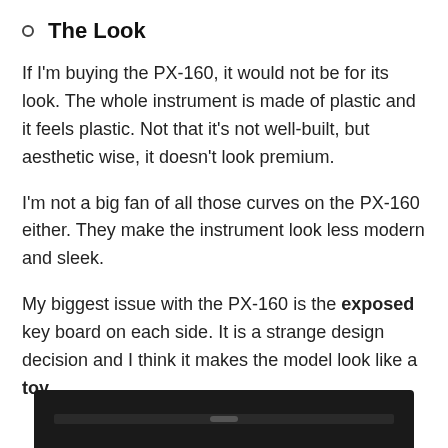The Look
If I'm buying the PX-160, it would not be for its look. The whole instrument is made of plastic and it feels plastic. Not that it's not well-built, but aesthetic wise, it doesn't look premium.
I'm not a big fan of all those curves on the PX-160 either. They make the instrument look less modern and sleek.
My biggest issue with the PX-160 is the exposed key board on each side. It is a strange design decision and I think it makes the model look like a toy.
[Figure (photo): Bottom portion of a black Casio PX-160 digital piano keyboard, showing the dark top surface with a central strip/label area.]